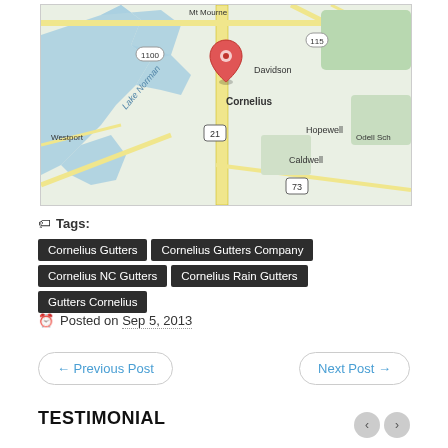[Figure (map): Google Maps screenshot showing Cornelius, NC area with Lake Norman to the west, Davidson to the northeast, Hopewell and Caldwell to the southeast. A red map marker pin is placed on Cornelius. Roads and route numbers 1100, 115, 21, and 73 are visible.]
Tags: Cornelius Gutters | Cornelius Gutters Company | Cornelius NC Gutters | Cornelius Rain Gutters | Gutters Cornelius
Posted on Sep 5, 2013
← Previous Post
Next Post →
TESTIMONIAL